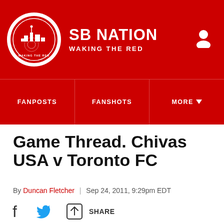SB NATION | WAKING THE RED
FANPOSTS | FANSHOTS | MORE
Game Thread. Chivas USA v Toronto FC
By Duncan Fletcher | Sep 24, 2011, 9:29pm EDT
SHARE